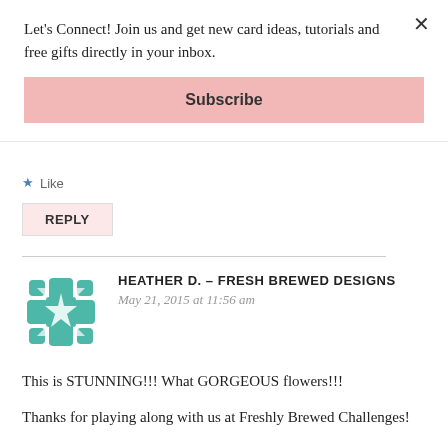Let's Connect! Join us and get new card ideas, tutorials and free gifts directly in your inbox.
Subscribe
Like
REPLY
[Figure (logo): Teal/mint geometric star flower logo for Fresh Brewed Designs]
HEATHER D. – FRESH BREWED DESIGNS
May 21, 2015 at 11:56 am
This is STUNNING!!! What GORGEOUS flowers!!!
Thanks for playing along with us at Freshly Brewed Challenges!